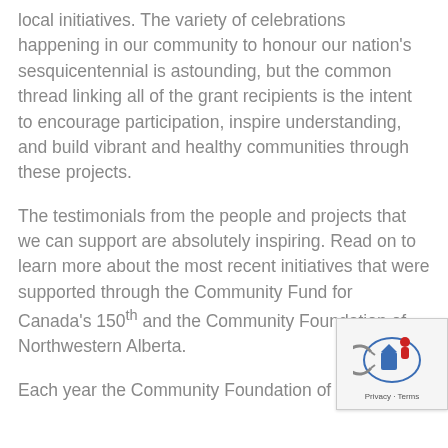local initiatives. The variety of celebrations happening in our community to honour our nation's sesquicentennial is astounding, but the common thread linking all of the grant recipients is the intent to encourage participation, inspire understanding, and build vibrant and healthy communities through these projects.
The testimonials from the people and projects that we can support are absolutely inspiring. Read on to learn more about the most recent initiatives that were supported through the Community Fund for Canada's 150th and the Community Foundation of Northwestern Alberta.
Each year the Community Foundation of
[Figure (logo): Community Foundation logo with blue and red graphic mark, overlaid with Privacy - Terms text]